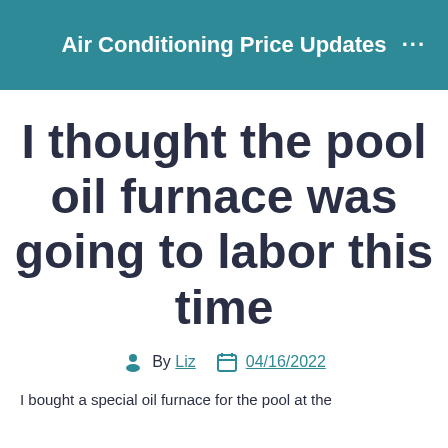Air Conditioning Price Updates
I thought the pool oil furnace was going to labor this time
By Liz  04/16/2022
I bought a special oil furnace for the pool at the